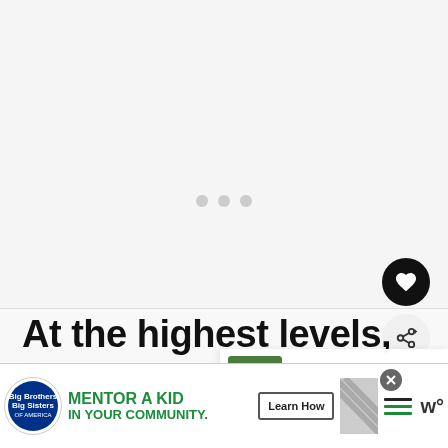[Figure (screenshot): Blank/loading video player area with three grey dots indicating loading state]
[Figure (screenshot): Black circular favorite/heart button]
[Figure (screenshot): Light grey circular share button with share icon]
At the highest levels, players may not get a say in where they fo
[Figure (screenshot): What's Next panel showing thumbnail of players and text 'Where Do You Put Your...']
[Figure (screenshot): Advertisement banner: Big Brothers Big Sisters - MENTOR A KID IN YOUR COMMUNITY. Learn How button, with diagonal stripes and W logo]